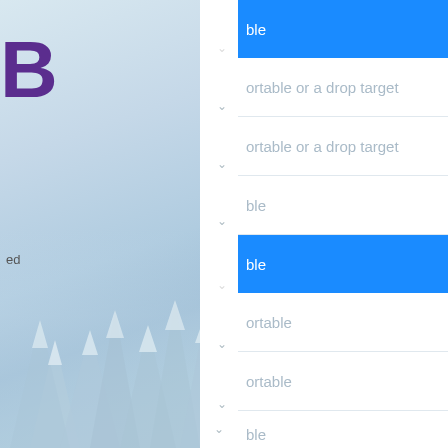[Figure (screenshot): A UI screenshot showing a partially visible application interface. On the left is a snowy forest background with a partially cropped purple 'DB' logo and a sidebar with the word 'ed' visible. On the right is a white dropdown list panel with blue highlighted rows and items partially showing text: 'ble' (highlighted blue), 'ortable or a drop target', 'ortable or a drop target', 'ble', 'ble' (highlighted blue), 'ortable', 'ortable', 'ble', and one more partial row. Each row has a downward chevron arrow on the left side.]